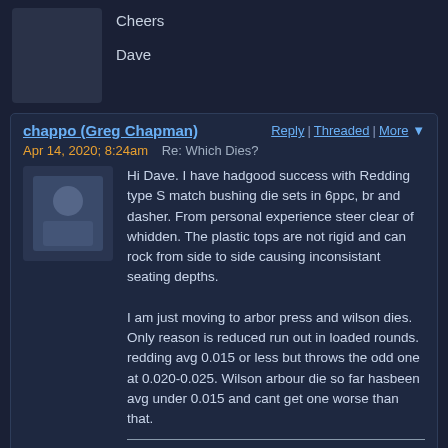Cheers

Dave
chappo (Greg Chapman) | Reply | Threaded | More
Apr 14, 2020; 8:24am   Re: Which Dies?
Hi Dave. I have hadgood success with Redding type S match bushing die sets in 6ppc, br and dasher.  From personal experience steer clear of whidden. The plastic tops are not rigid and can rock from side to side causing inconsistant seating depths.

I am just moving to arbor press and wilson dies. Only reason is reduced run out in loaded rounds. redding avg 0.015 or less but throws the odd one at 0.020-0.025. Wilson arbour die so far hasbeen avg under 0.015 and cant get one worse than that.
"Only accurate rifles are interesting". Col Townsend Whelen
John 23 Harris | Reply | Threaded | More
Apr 14, 2020; 9:12am   Re: Which Dies?
In reply to this post by David Dundas